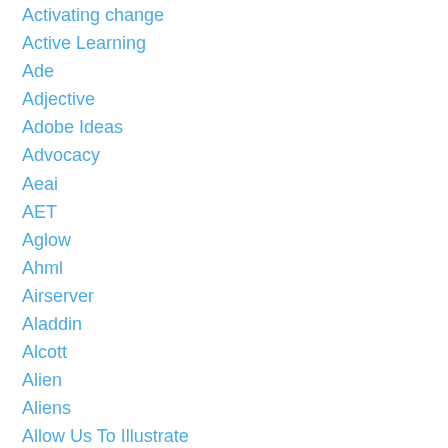Activating change
Active Learning
Ade
Adjective
Adobe Ideas
Advocacy
Aeai
AET
Aglow
Ahml
Airserver
Aladdin
Alcott
Alien
Aliens
Allow Us To Illustrate
Amaziograph
American Gothic
Anagram
Analogous
Andy Martin